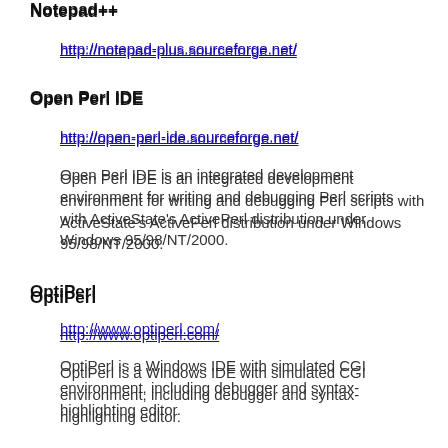Notepad++
http://notepad-plus.sourceforge.net/
Open Perl IDE
http://open-perl-ide.sourceforge.net/
Open Perl IDE is an integrated development environment for writing and debugging Perl scripts with ActiveState's ActivePerl distribution under Windows 95/98/NT/2000.
OptiPerl
http://www.optiperl.com/
OptiPerl is a Windows IDE with simulated CGI environment, including debugger and syntax-highlighting editor.
Padre
http://padre.perlide.org/